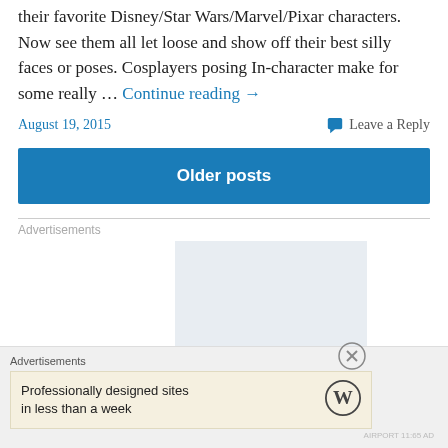their favorite Disney/Star Wars/Marvel/Pixar characters. Now see them all let loose and show off their best silly faces or poses. Cosplayers posing In-character make for some really … Continue reading →
August 19, 2015
Leave a Reply
Older posts
Advertisements
[Figure (other): Advertisement placeholder box (light blue-grey rectangle)]
Advertisements
Professionally designed sites in less than a week
[Figure (logo): WordPress logo (W in circle)]